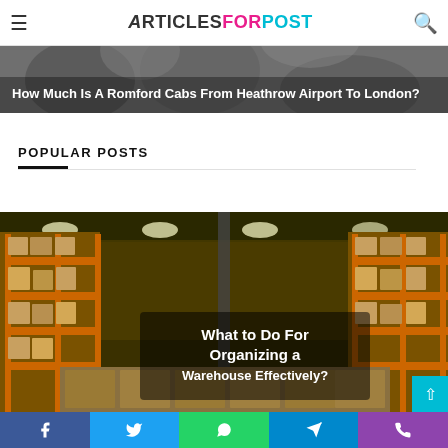ArticlesForPost
[Figure (photo): Grayscale photo of hands, partially visible, with white bold title text overlay reading: How Much Is A Romford Cabs From Heathrow Airport To London?]
POPULAR POSTS
[Figure (photo): Color photo of a large warehouse interior with tall orange shelving racks filled with boxes and pallets. Center overlay text reads: What to Do For Organizing a Warehouse Effectively?]
Facebook | Twitter | WhatsApp | Telegram | Phone